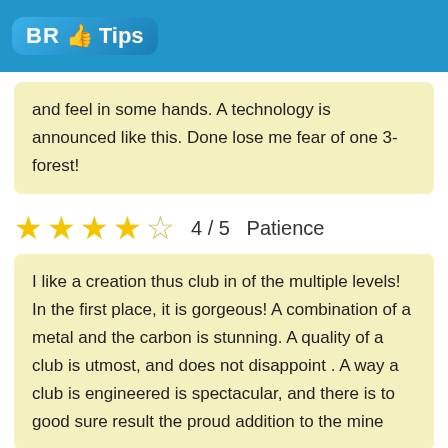BR Tips
and feel in some hands. A technology is announced like this. Done lose me fear of one 3-forest!
4 / 5   Patience
I like a creation thus club in of the multiple levels! In the first place, it is gorgeous! A combination of a metal and the carbon is stunning. A quality of a club is utmost, and does not disappoint . A way a club is engineered is spectacular, and there is to good sure result the proud addition to the mine